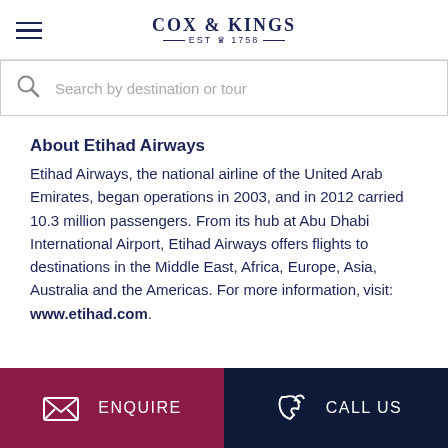COX & KINGS — EST 1758 —
Search by destination or tour
About Etihad Airways
Etihad Airways, the national airline of the United Arab Emirates, began operations in 2003, and in 2012 carried 10.3 million passengers. From its hub at Abu Dhabi International Airport, Etihad Airways offers flights to destinations in the Middle East, Africa, Europe, Asia, Australia and the Americas. For more information, visit: www.etihad.com.
ENQUIRE | CALL US